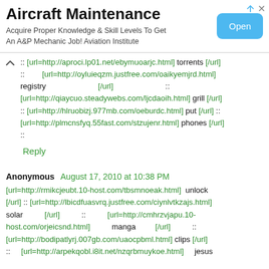[Figure (screenshot): Advertisement banner for Aircraft Maintenance with an 'Open' button. Title: 'Aircraft Maintenance', subtitle: 'Acquire Proper Knowledge & Skill Levels To Get An A&P Mechanic Job! Aviation Institute']
:: [url=http://aproci.lp01.net/ebymuoarjc.html] torrents [/url] :: [url=http://oyluieqzm.justfree.com/oaikyemjrd.html] registry [/url] :: [url=http://qiaycuo.steadywebs.com/ljcdaoih.html] grill [/url] :: [url=http://hlruobizj.977mb.com/oeburdc.html] put [/url] :: [url=http://plmcnsfyq.55fast.com/stzujenr.html] phones [/url] ::
Reply
Anonymous August 17, 2010 at 10:38 PM
[url=http://rmikcjeubt.10-host.com/tbsmnoeak.html] unlock [/url] :: [url=http://lbicdfuasvrq.justfree.com/ciynlvtkzajs.html] solar [/url] :: [url=http://cmhrzvjapu.10-host.com/orjeicsnd.html] manga [/url] :: [url=http://bodipatlyrj.007gb.com/uaocpbml.html] clips [/url] :: [url=http://arpekqobl.i8it.net/nzqrbmuykoe.html] jesus